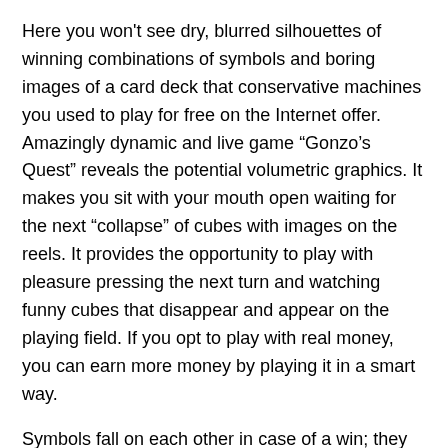Here you won't see dry, blurred silhouettes of winning combinations of symbols and boring images of a card deck that conservative machines you used to play for free on the Internet offer. Amazingly dynamic and live game “Gonzo’s Quest” reveals the potential volumetric graphics. It makes you sit with your mouth open waiting for the next “collapse” of cubes with images on the reels. It provides the opportunity to play with pleasure pressing the next turn and watching funny cubes that disappear and appear on the playing field. If you opt to play with real money, you can earn more money by playing it in a smart way.
Symbols fall on each other in case of a win; they glowingly explode to create a room for extra symbols to fall. This avalanche feature will keep recurring as long as keeps hitting winning combos. The free spins symbol in the Gonzo's Quest slot is a golden block, as this is what this symbol could bring